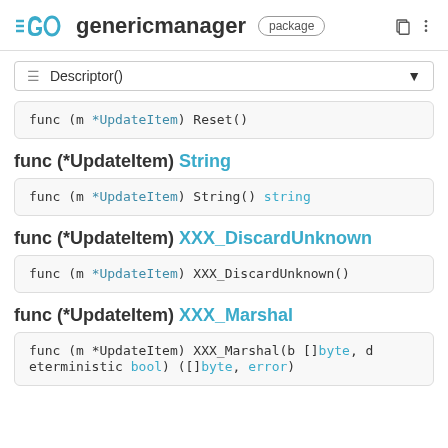genericmanager package
☰ Descriptor()
func (m *UpdateItem) Reset()
func (*UpdateItem) String
func (m *UpdateItem) String() string
func (*UpdateItem) XXX_DiscardUnknown
func (m *UpdateItem) XXX_DiscardUnknown()
func (*UpdateItem) XXX_Marshal
func (m *UpdateItem) XXX_Marshal(b []byte, deterministic bool) ([]byte, error)